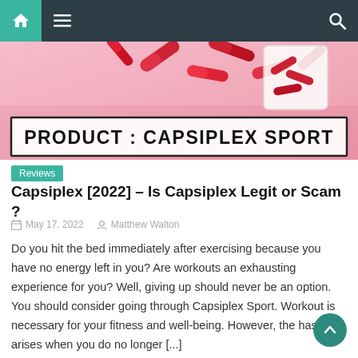Navigation bar with home, menu, and search icons
[Figure (photo): Product banner image showing red capsules/pills on a pink background with a white label reading PRODUCT : CAPSIPLEX SPORT in bold black uppercase text]
Reviews
Capsiplex [2022] – Is Capsiplex Legit or Scam ?
May 17, 2022   Matthew Walton
Do you hit the bed immediately after exercising because you have no energy left in you? Are workouts an exhausting experience for you? Well, giving up should never be an option. You should consider going through Capsiplex Sport. Workout is necessary for your fitness and well-being. However, the hassle arises when you do no longer [...]